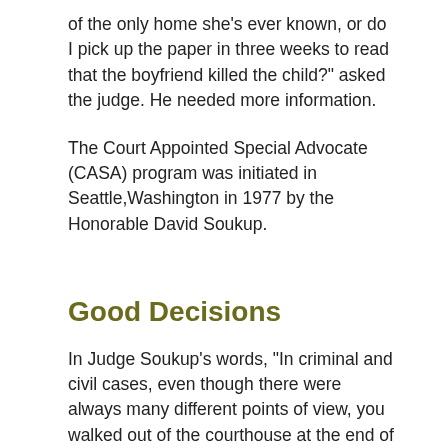of the only home she's ever known, or do I pick up the paper in three weeks to read that the boyfriend killed the child?" asked the judge. He needed more information.
The Court Appointed Special Advocate (CASA) program was initiated in Seattle,Washington in 1977 by the Honorable David Soukup.
Good Decisions
In Judge Soukup's words, "In criminal and civil cases, even though there were always many different points of view, you walked out of the courthouse at the end of the day and you said, I've done my best; I can live with this decision," he explains.
Facilitating Growth
"But when I was dealing with children, I just wasn't